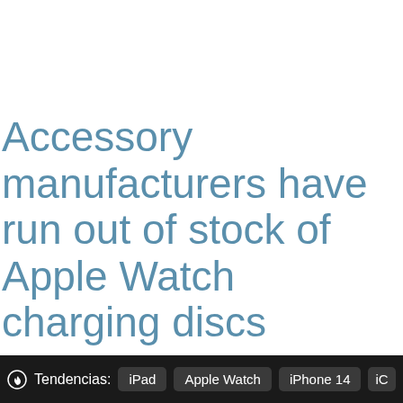Accessory manufacturers have run out of stock of Apple Watch charging discs
Tendencias: iPad  Apple Watch  iPhone 14  iC...